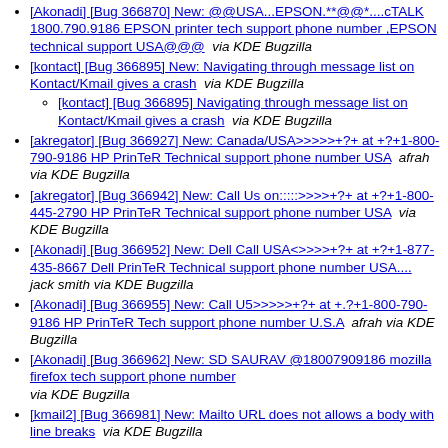[Akonadi] [Bug 366870] New: @@USA...EPSON.**@@*....cTALK 1800.790.9186 EPSON printer tech support phone number ,EPSON technical support USA@@@  via KDE Bugzilla
[kontact] [Bug 366895] New: Navigating through message list on Kontact/Kmail gives a crash  via KDE Bugzilla
[kontact] [Bug 366895] Navigating through message list on Kontact/Kmail gives a crash  via KDE Bugzilla
[akregator] [Bug 366927] New: Canada/USA>>>>>+?+ at +?+1-800-790-9186 HP PrinTeR Technical support phone number USA  afrah via KDE Bugzilla
[akregator] [Bug 366942] New: Call Us on:::::>>>>+?+ at +?+1-800-445-2790 HP PrinTeR Technical support phone number USA  via KDE Bugzilla
[Akonadi] [Bug 366952] New: Dell Call USA<>>>>+?+ at +?+1-877-435-8667 Dell PrinTeR Technical support phone number USA....  jack smith via KDE Bugzilla
[Akonadi] [Bug 366955] New: Call U5>>>>>+?+ at +.?+1-800-790-9186 HP PrinTeR Tech support phone number U.S.A  afrah via KDE Bugzilla
[Akonadi] [Bug 366962] New: SD SAURAV @18007909186 mozilla firefox tech support phone number  via KDE Bugzilla
[kmail2] [Bug 366981] New: Mailto URL does not allows a body with line breaks  via KDE Bugzilla
[kmail2] [Bug 366981] Mailto URL does not allows a body with line breaks  via KDE Bugzilla